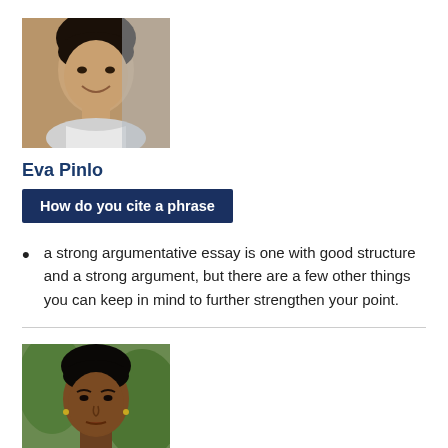[Figure (photo): Profile photo of Eva Pinlo, a smiling woman with dark hair]
Eva Pinlo
How do you cite a phrase
a strong argumentative essay is one with good structure and a strong argument, but there are a few other things you can keep in mind to further strengthen your point.
[Figure (photo): Profile photo of Elea Rightihg, a woman with dark hair against a green background]
Elea Rightihg
How to cite movies in an essay